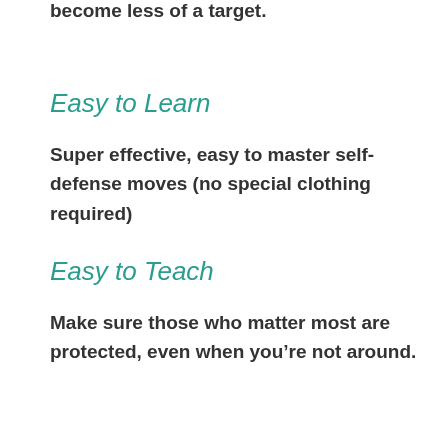become less of a target.
Easy to Learn
Super effective, easy to master self-defense moves (no special clothing required)
Easy to Teach
Make sure those who matter most are protected, even when you’re not around.